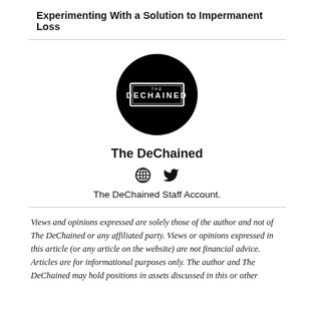Experimenting With a Solution to Impermanent Loss
[Figure (logo): The DeChained circular black logo with 'THE DECHAINED' text in a rectangular border]
The DeChained
[Figure (other): Globe icon and Twitter bird icon]
The DeChained Staff Account.
Views and opinions expressed are solely those of the author and not of The DeChained or any affiliated party. Views or opinions expressed in this article (or any article on the website) are not financial advice. Articles are for informational purposes only. The author and The DeChained may hold positions in assets discussed in this or other